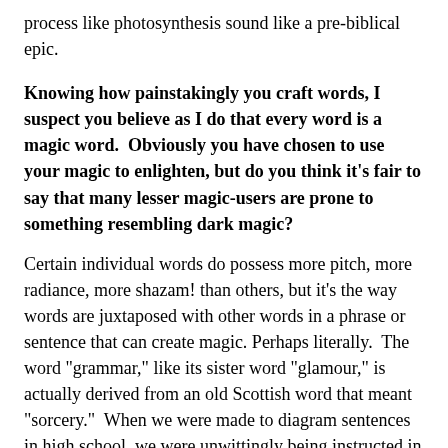process like photosynthesis sound like a pre-biblical epic.
Knowing how painstakingly you craft words, I suspect you believe as I do that every word is a magic word.  Obviously you have chosen to use your magic to enlighten, but do you think it's fair to say that many lesser magic-users are prone to something resembling dark magic?
Certain individual words do possess more pitch, more radiance, more shazam! than others, but it's the way words are juxtaposed with other words in a phrase or sentence that can create magic. Perhaps literally.  The word "grammar," like its sister word "glamour," is actually derived from an old Scottish word that meant "sorcery."  When we were made to diagram sentences in high school, we were unwittingly being instructed in syntax sorcery, in wizardry.  We were all enrolled at Hogwarts.  Who knew?
When a culture is being dumbed down as effectively as ours is, its narrative arts (literature, film, theatre) seem to vacillate